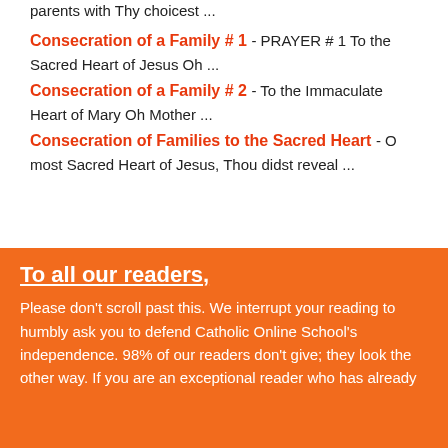parents with Thy choicest ...
Consecration of a Family # 1 - PRAYER # 1 To the Sacred Heart of Jesus Oh ...
Consecration of a Family # 2 - To the Immaculate Heart of Mary Oh Mother ...
Consecration of Families to the Sacred Heart - O most Sacred Heart of Jesus, Thou didst reveal ...
To all our readers,
Please don't scroll past this. We interrupt your reading to humbly ask you to defend Catholic Online School's independence. 98% of our readers don't give; they look the other way. If you are an exceptional reader who has already